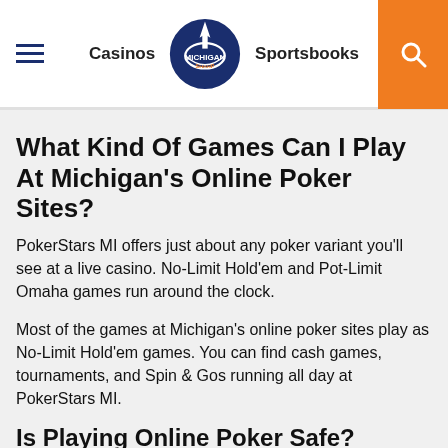Casinos | Michigan Sharp | Sportsbooks
What Kind Of Games Can I Play At Michigan's Online Poker Sites?
PokerStars MI offers just about any poker variant you'll see at a live casino. No-Limit Hold'em and Pot-Limit Omaha games run around the clock.
Most of the games at Michigan's online poker sites play as No-Limit Hold'em games. You can find cash games, tournaments, and Spin & Gos running all day at PokerStars MI.
Is Playing Online Poker Safe?
Yes. The Michigan Gaming Control Board (MGCB) only approves online gambling sites that pass a rigorous vetting process. You can play the games at PokerStars